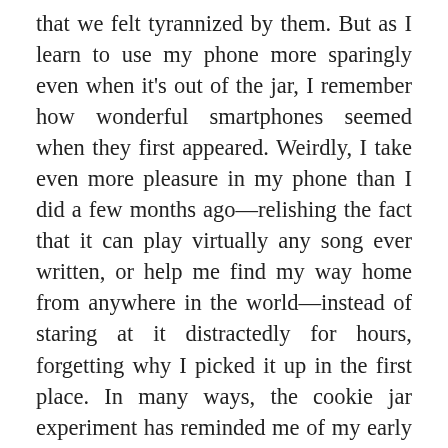that we felt tyrannized by them. But as I learn to use my phone more sparingly even when it's out of the jar, I remember how wonderful smartphones seemed when they first appeared. Weirdly, I take even more pleasure in my phone than I did a few months ago—relishing the fact that it can play virtually any song ever written, or help me find my way home from anywhere in the world—instead of staring at it distractedly for hours, forgetting why I picked it up in the first place. In many ways, the cookie jar experiment has reminded me of my early forays into meditation. In the same way that sitting still and watching the breath seems to make the world more spacious and thoughts clearer, renouncing my phone each morning has made me feel like an underwater swimmer who has come up for air into a dazzling world of sound and color. Now, when I hear the jar click shut, it